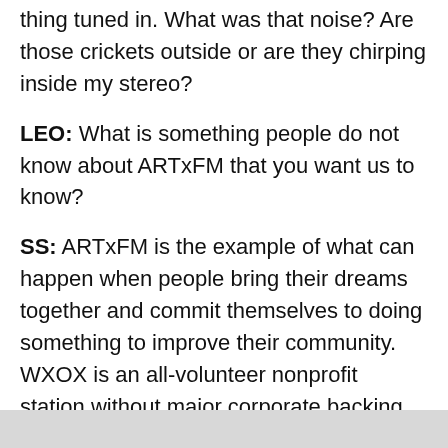thing tuned in. What was that noise? Are those crickets outside or are they chirping inside my stereo?
LEO: What is something people do not know about ARTxFM that you want us to know?
SS: ARTxFM is the example of what can happen when people bring their dreams together and commit themselves to doing something to improve their community. WXOX is an all-volunteer nonprofit station without major corporate backing. We are DIY to the core, learning as we go. We depend on the support of our listeners and encourage the participation of our community. We have volunteer opportunities for folks